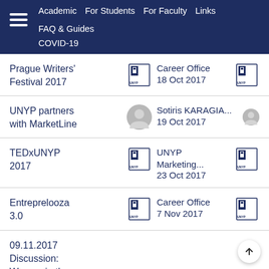Academic  For Students  For Faculty  Links  FAQ & Guides  COVID-19
Prague Writers' Festival 2017 | Career Office | 18 Oct 2017
UNYP partners with MarketLine | Sotiris KARAGIA... | 19 Oct 2017
TEDxUNYP 2017 | UNYP Marketing... | 23 Oct 2017
Entreprelooza 3.0 | Career Office | 7 Nov 2017
09.11.2017 Discussion: Women in the